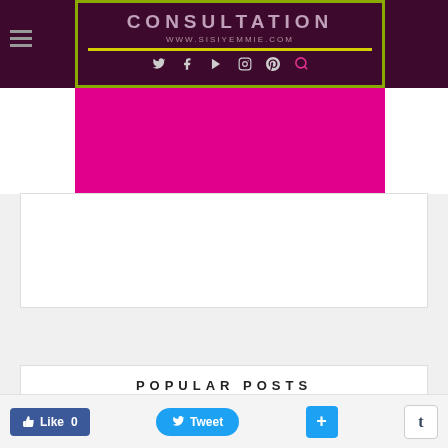CONSULTATION
www.sisiyemmie.com
[Figure (screenshot): Website header with dark maroon background showing CONSULTATION site name, www.sisiyemmie.com URL, social media icons (Twitter, Facebook, YouTube, Instagram, Pinterest, Search), green-bordered box with magenta/pink banner]
POPULAR POSTS
[Figure (photo): Thumbnail image of round puff-puff (fried dough balls) on a plate, brown/golden color]
HOW TO MAKE ROUND PUFF-PUFF WITHOUT USING YOUR HANDS
I have a great recipe for puff-puff that my mom shared on this blog, yes sh…
Like 0   Tweet   +   t